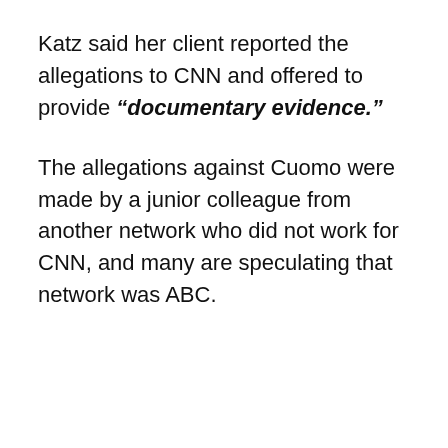Katz said her client reported the allegations to CNN and offered to provide "documentary evidence."
The allegations against Cuomo were made by a junior colleague from another network who did not work for CNN, and many are speculating that network was ABC.